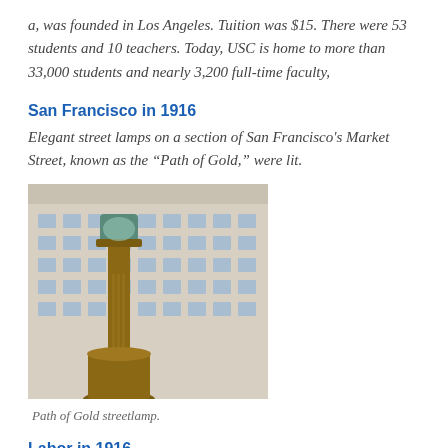a, was founded in Los Angeles. Tuition was $15. There were 53 students and 10 teachers. Today, USC is home to more than 33,000 students and nearly 3,200 full-time faculty,
San Francisco in 1916
Elegant street lamps on a section of San Francisco's Market Street, known as the “Path of Gold,” were lit.
[Figure (photo): A decorative ornate bronze street lamp (Path of Gold streetlamp) in the foreground with a large multi-story building in the background in San Francisco.]
Path of Gold streetlamp.
Labor in 1916
The California State Federation of Labor upheld its policy of